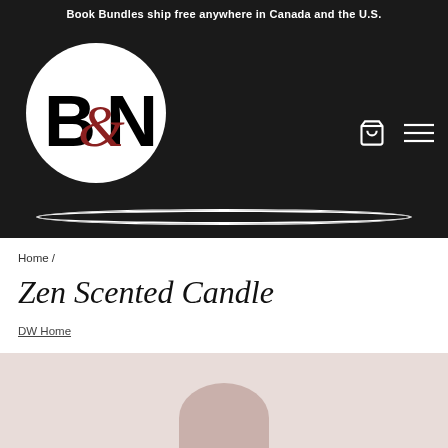Book Bundles ship free anywhere in Canada and the U.S.
[Figure (logo): BON logo — white circle with stylized B, ampersand swirl, and N letters in black and dark red on black background header]
Home /
Zen Scented Candle
DW Home
[Figure (photo): Bottom portion of product image area showing a candle on a pinkish-beige background]